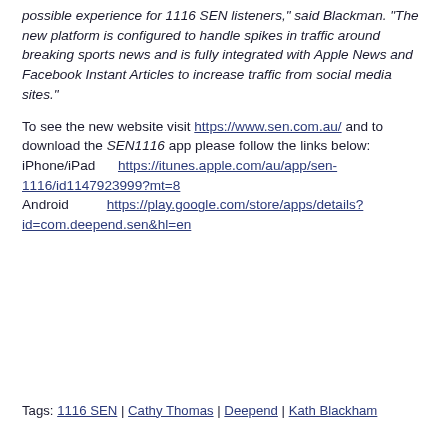possible experience for 1116 SEN listeners," said Blackman. "The new platform is configured to handle spikes in traffic around breaking sports news and is fully integrated with Apple News and Facebook Instant Articles to increase traffic from social media sites."
To see the new website visit https://www.sen.com.au/ and to download the SEN1116 app please follow the links below: iPhone/iPad https://itunes.apple.com/au/app/sen-1116/id1147923999?mt=8 Android https://play.google.com/store/apps/details?id=com.deepend.sen&hl=en
Tags: 1116 SEN | Cathy Thomas | Deepend | Kath Blackham